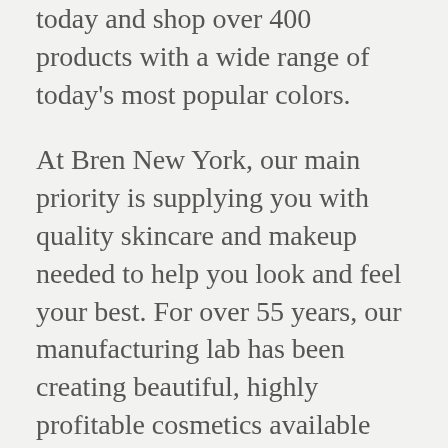today and shop over 400 products with a wide range of today's most popular colors.
At Bren New York, our main priority is supplying you with quality skincare and makeup needed to help you look and feel your best. For over 55 years, our manufacturing lab has been creating beautiful, highly profitable cosmetics available around the world.
As a family owned corporate company, Make-Up USA LLC is the sole wholesale distributor for Bren New York Cosmetics. We are constantly striving for excellence and have been recognized for our wide array of products including color cosmetics, body and skin care... Our founder...